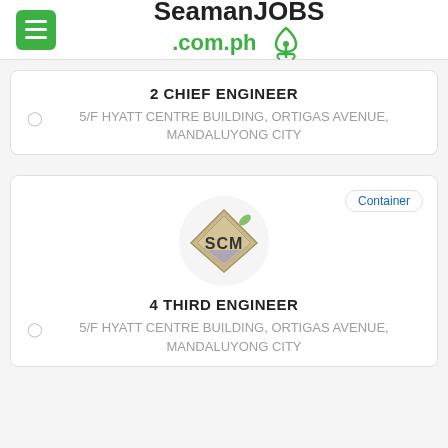SeamanJOBS.com.ph
2 CHIEF ENGINEER
5/F HYATT CENTRE BUILDING, ORTIGAS AVENUE, MANDALUYONG CITY
4 THIRD ENGINEER
5/F HYATT CENTRE BUILDING, ORTIGAS AVENUE, MANDALUYONG CITY